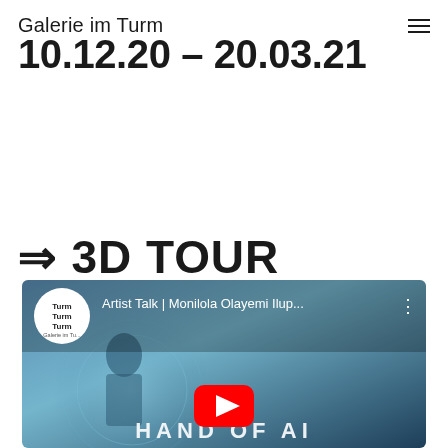Galerie im Turm
10.12.20 – 20.03.21
⇒ 3D TOUR
[Figure (screenshot): YouTube video thumbnail for 'Artist Talk | Monilola Olayemi Ilup...' from channel Turm Turm Turm (Galerie im Turm), with partial text 'HANDS OF AI' visible at bottom and a red YouTube play button]